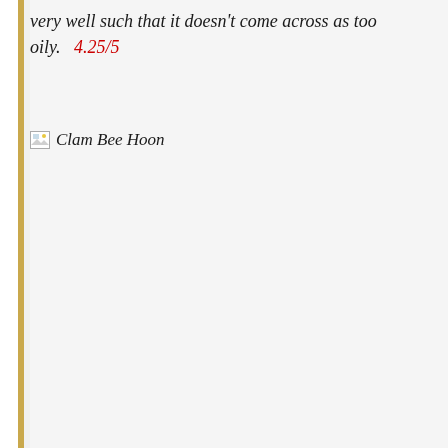very well such that it doesn't come across as too oily.   4.25/5
[Figure (photo): Broken image placeholder with alt text 'Clam Bee Hoon']